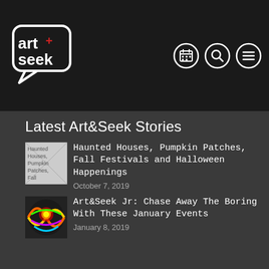art+seek (logo with navigation icons: calendar, search, menu)
Latest Art&Seek Stories
[Figure (photo): Broken/missing image placeholder for Haunted Houses article]
Haunted Houses, Pumpkin Patches, Fall Festivals and Halloween Happenings
October 7, 2019
[Figure (photo): Colorful illustrated artwork thumbnail for Art&Seek Jr article]
Art&Seek Jr: Chase Away The Boring With These January Events
January 8, 2019